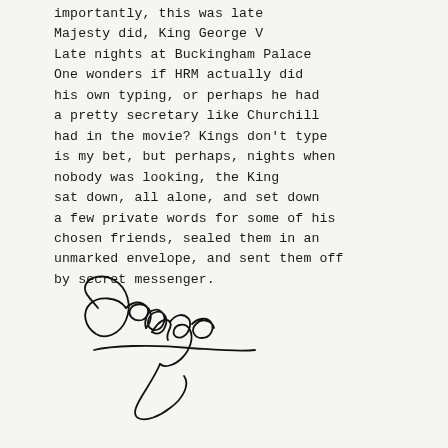importantly, this was late Majesty did, King George V Late nights at Buckingham Palace One wonders if HRM actually did his own typing, or perhaps he had a pretty secretary like Churchill had in the movie? Kings don't type is my bet, but perhaps, nights when nobody was looking, the King sat down, all alone, and set down a few private words for some of his chosen friends, sealed them in an unmarked envelope, and sent them off by secret messenger.
[Figure (illustration): Handwritten cursive signature reading 'George' with an elaborate flourish and underline below]